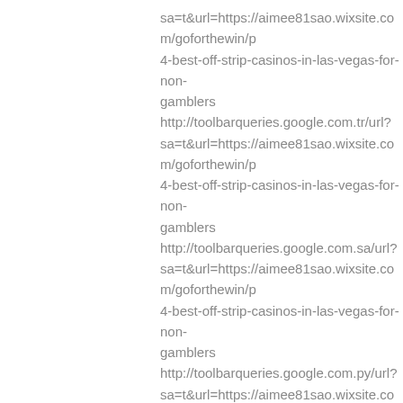sa=t&url=https://aimee81sao.wixsite.com/goforthewin/p 4-best-off-strip-casinos-in-las-vegas-for-non-gamblers http://toolbarqueries.google.com.tr/url?sa=t&url=https://aimee81sao.wixsite.com/goforthewin/p 4-best-off-strip-casinos-in-las-vegas-for-non-gamblers http://toolbarqueries.google.com.sa/url?sa=t&url=https://aimee81sao.wixsite.com/goforthewin/p 4-best-off-strip-casinos-in-las-vegas-for-non-gamblers http://toolbarqueries.google.com.py/url?sa=t&url=https://aimee81sao.wixsite.com/goforthewin/p 4-best-off-strip-casinos-in-las-vegas-for-non-gamblers http://toolbarqueries.google.com.pr/url?sa=t&url=https://aimee81sao.wixsite.com/goforthewin/p 4-best-off-strip-casinos-in-las-vegas-for-non-gamblers